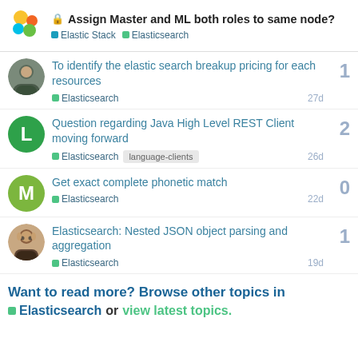🔒 Assign Master and ML both roles to same node? — Elastic Stack · Elasticsearch
To identify the elastic search breakup pricing for each resources — Elasticsearch — 27d — replies: 1
Question regarding Java High Level REST Client moving forward — Elasticsearch — language-clients — 26d — replies: 2
Get exact complete phonetic match — Elasticsearch — 22d — replies: 0
Elasticsearch: Nested JSON object parsing and aggregation — Elasticsearch — 19d — replies: 1
Want to read more? Browse other topics in Elasticsearch or view latest topics.